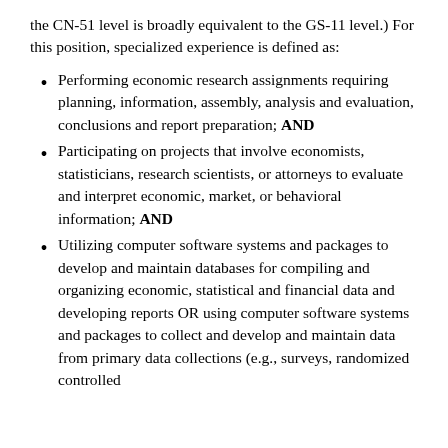the CN-51 level is broadly equivalent to the GS-11 level.) For this position, specialized experience is defined as:
Performing economic research assignments requiring planning, information, assembly, analysis and evaluation, conclusions and report preparation; AND
Participating on projects that involve economists, statisticians, research scientists, or attorneys to evaluate and interpret economic, market, or behavioral information; AND
Utilizing computer software systems and packages to develop and maintain databases for compiling and organizing economic, statistical and financial data and developing reports OR using computer software systems and packages to collect and develop and maintain data from primary data collections (e.g., surveys, randomized controlled